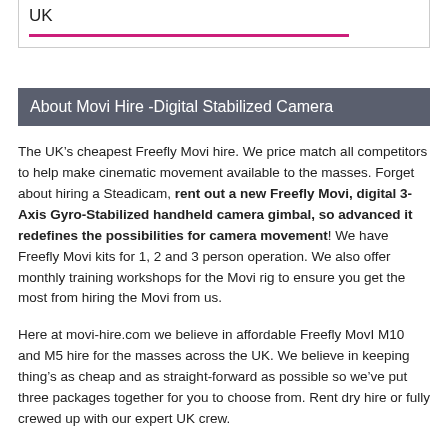UK
About Movi Hire -Digital Stabilized Camera
The UK’s cheapest Freefly Movi hire. We price match all competitors to help make cinematic movement available to the masses. Forget about hiring a Steadicam, rent out a new Freefly Movi, digital 3-Axis Gyro-Stabilized handheld camera gimbal, so advanced it redefines the possibilities for camera movement! We have Freefly Movi kits for 1, 2 and 3 person operation. We also offer monthly training workshops for the Movi rig to ensure you get the most from hiring the Movi from us.
Here at movi-hire.com we believe in affordable Freefly MovI M10 and M5 hire for the masses across the UK. We believe in keeping thing’s as cheap and as straight-forward as possible so we’ve put three packages together for you to choose from. Rent dry hire or fully crewed up with our expert UK crew.